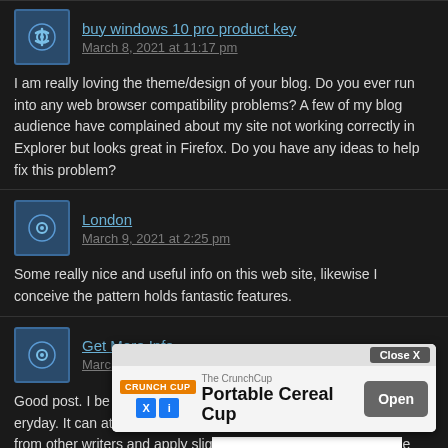buy windows 10 pro product key — March 8, 2021 at 11:17 pm — I am really loving the theme/design of your blog. Do you ever run into any web browser compatibility problems? A few of my blog audience have complained about my site not working correctly in Explorer but looks great in Firefox. Do you have any ideas to help fix this problem?
London — March 9, 2021 at 2:25 pm — Some really nice and useful info on this web site, likewise I conceive the pattern holds fantastic features.
Get More Info — March 9, 2021 at 6:54 pm — Good post. I be taught something tougher on totally different blogs everyday. It can at all times be stimulating to learn content material from other writers and apply slight ... content on my blog w... ...your net blog. Tha...
[Figure (screenshot): Mobile ad overlay for 'Portable Cereal Cup' by The CrunchCup with Close X and Open buttons]